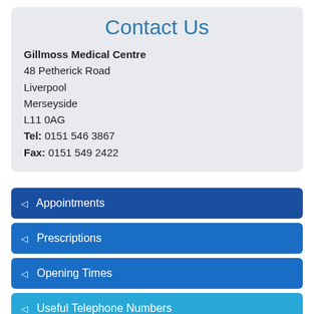Contact Us
Gillmoss Medical Centre
48 Petherick Road
Liverpool
Merseyside
L11 0AG
Tel: 0151 546 3867
Fax: 0151 549 2422
Appointments
Prescriptions
Opening Times
Useful Telephone Numbers